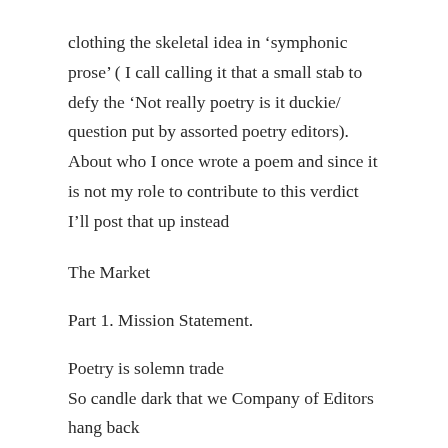clothing the skeletal idea in ‘symphonic prose’ ( I call calling it that a small stab to defy the ‘Not really poetry is it duckie/ question put by assorted poetry editors). About who I once wrote a poem and since it is not my role to contribute to this verdict I’ll post that up instead
The Market
Part 1. Mission Statement.
Poetry is solemn trade
So candle dark that we Company of Editors
hang back